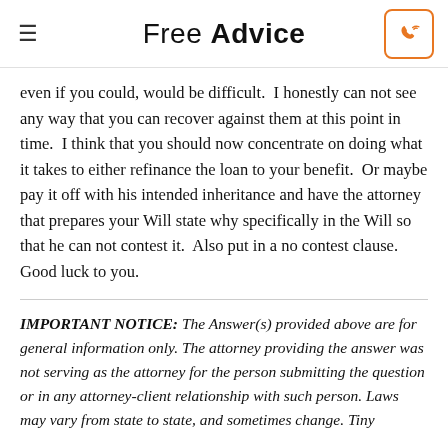Free Advice
even if you could, would be difficult.  I honestly can not see any way that you can recover against them at this point in time.  I think that you should now concentrate on doing what it takes to either refinance the loan to your benefit.  Or maybe pay it off with his intended inheritance and have the attorney that prepares your Will state why specifically in the Will so that he can not contest it.  Also put in a no contest clause.  Good luck to you.
IMPORTANT NOTICE: The Answer(s) provided above are for general information only. The attorney providing the answer was not serving as the attorney for the person submitting the question or in any attorney-client relationship with such person. Laws may vary from state to state, and sometimes change. Tiny